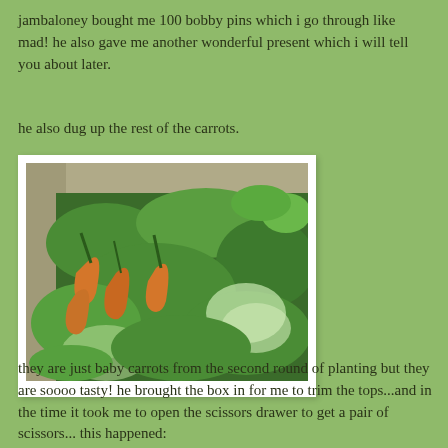jambaloney bought me 100 bobby pins which i go through like mad! he also gave me another wonderful present which i will tell you about later.
he also dug up the rest of the carrots.
[Figure (photo): A cardboard box filled with freshly dug carrots with their green tops still attached, viewed from above.]
they are just baby carrots from the second round of planting but they are soooo tasty! he brought the box in for me to trim the tops...and in the time it took me to open the scissors drawer to get a pair of scissors... this happened: